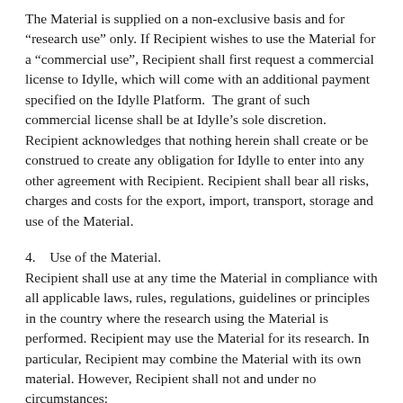The Material is supplied on a non-exclusive basis and for “research use” only. If Recipient wishes to use the Material for a “commercial use”, Recipient shall first request a commercial license to Idylle, which will come with an additional payment specified on the Idylle Platform.  The grant of such commercial license shall be at Idylle’s sole discretion. Recipient acknowledges that nothing herein shall create or be construed to create any obligation for Idylle to enter into any other agreement with Recipient. Recipient shall bear all risks, charges and costs for the export, import, transport, storage and use of the Material.
4.    Use of the Material.
Recipient shall use at any time the Material in compliance with all applicable laws, rules, regulations, guidelines or principles in the country where the research using the Material is performed. Recipient may use the Material for its research. In particular, Recipient may combine the Material with its own material. However, Recipient shall not and under no circumstances:
a. use any Material for any purpose other than the performance of its research;